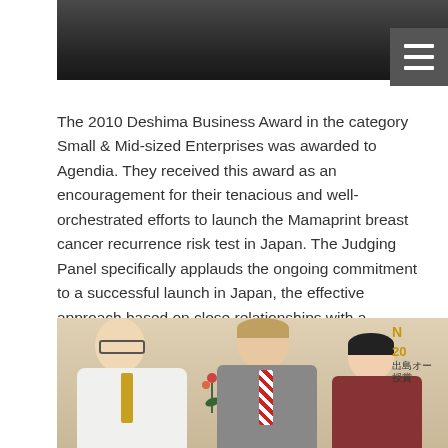[Figure (photo): Top portion of a photo showing people in dark formal attire, partially cropped]
The 2010 Deshima Business Award in the category Small & Mid-sized Enterprises was awarded to Agendia. They received this award as an encouragement for their tenacious and well-orchestrated efforts to launch the Mamaprint breast cancer recurrence risk test in Japan. The Judging Panel specifically applauds the ongoing commitment to a successful launch in Japan, the effective approach based on close relationships with a Japanese partner and local universities, as well as the potential for a significant contribution to society.
[Figure (photo): Photo of three people at an award ceremony: an elderly Japanese man on the left in a white suit with a gold tie, a taller Caucasian man in the center wearing a grey suit with a red striped tie, and an elderly Japanese woman on the right. Japanese text and award text visible on right side reading 出島オー 授賞 with a year starting with 20.]